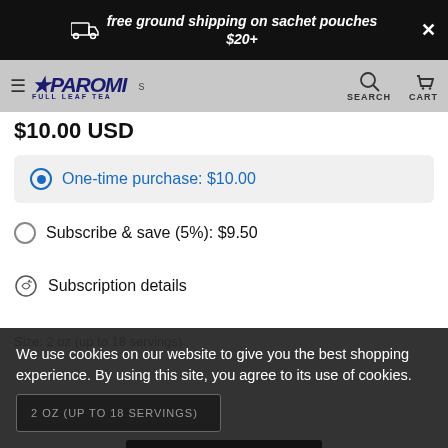free ground shipping on sachet pouches $20+
PAROMI FULL LEAF TEA — SEARCH CART
$10.00 USD
One-time purchase: $10.00
Subscribe & save (5%): $9.50
Subscription details
Size: 2 oz (up to 18 servings)
We use cookies on our website to give you the best shopping experience. By using this site, you agree to its use of cookies.
2 OZ (UP TO 18 SERVINGS)
I AGREE